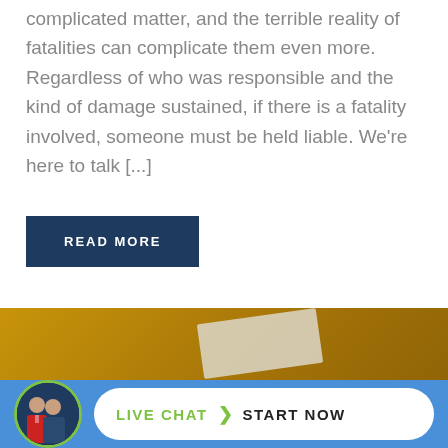complicated matter, and the terrible reality of fatalities can complicate them even more. Regardless of who was responsible and the kind of damage sustained, if there is a fatality involved, someone must be held liable. We're here to talk [...]
READ MORE
[Figure (photo): Background photo with golden/amber color, showing a partial view of a document or paper on a surface]
[Figure (infographic): Live chat widget bar with circular avatar showing two attorneys/people, and a pill-shaped button reading LIVE CHAT > START NOW on a blue background]